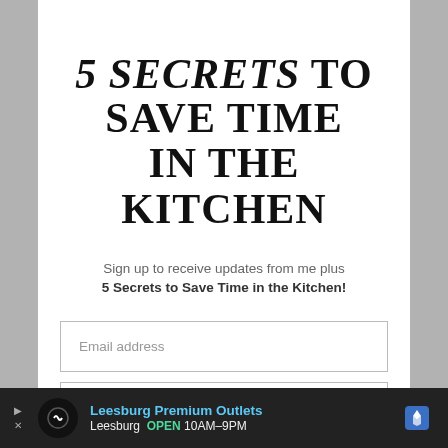5 SECRETS TO SAVE TIME IN THE KITCHEN
Sign up to receive updates from me plus 5 Secrets to Save Time in the Kitchen!
Email address
First name
SUBSCRIBE
Leesburg Premium Outlets Leesburg OPEN 10AM–9PM